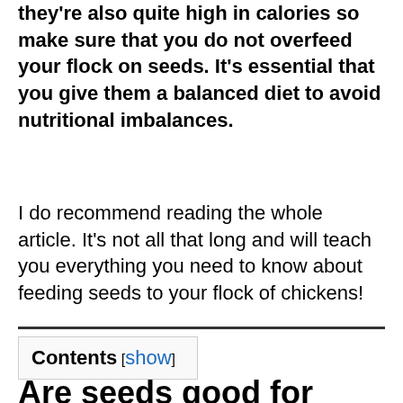they're also quite high in calories so make sure that you do not overfeed your flock on seeds. It's essential that you give them a balanced diet to avoid nutritional imbalances.
I do recommend reading the whole article. It's not all that long and will teach you everything you need to know about feeding seeds to your flock of chickens!
Contents [show]
Are seeds good for